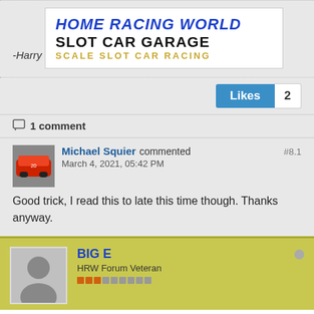-Harry
[Figure (logo): Home Racing World Slot Car Garage - Scale Slot Car Racing logo]
Likes 2
1 comment
Michael Squier commented March 4, 2021, 05:42 PM #8.1
Good trick, I read this to late this time though. Thanks anyway.
BIG E HRW Forum Veteran